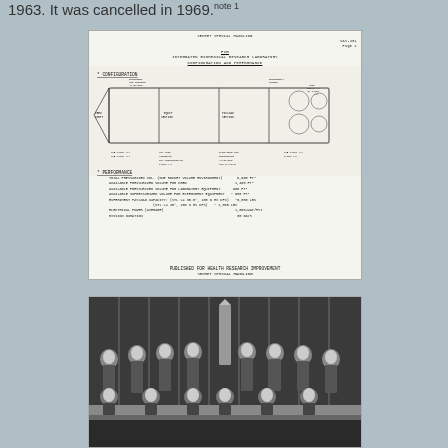1963. It was cancelled in 1969.note 1
[Figure (engineering-diagram): Declassified engineering schematic of an Integrated Biomedical Research Laboratory showing configuration and performance data, labeled SECRET SPECIAL HANDLING]
[Figure (photo): Black and white group photograph of military personnel (approximately 13 men in uniform) posed formally with a rocket model in the center, some seated and some standing]